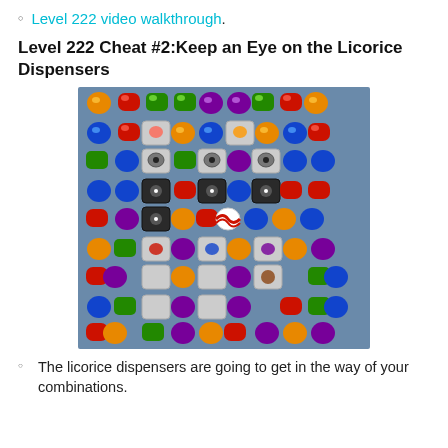Level 222 video walkthrough.
Level 222 Cheat #2:Keep an Eye on the Licorice Dispensers
[Figure (screenshot): Candy Crush Saga Level 222 game board screenshot showing a 9x9 grid of colorful candies including orange, red, green, blue, purple, and yellow candies, as well as licorice dispensers (dark boxes), locked candies in grey boxes, and a candy cane striped candy.]
The licorice dispensers are going to get in the way of your combinations.